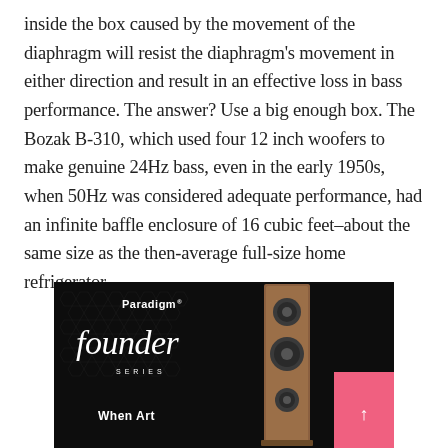inside the box caused by the movement of the diaphragm will resist the diaphragm's movement in either direction and result in an effective loss in bass performance. The answer? Use a big enough box. The Bozak B-310, which used four 12 inch woofers to make genuine 24Hz bass, even in the early 1950s, when 50Hz was considered adequate performance, had an infinite baffle enclosure of 16 cubic feet–about the same size as the then-average full-size home refrigerator.
[Figure (photo): Advertisement for Paradigm Founder Series speakers. Dark background with hexagonal texture, white Paradigm brand name, cursive 'Founder' script, 'SERIES' in spaced caps, 'When Art' text at bottom. A floor-standing speaker in walnut finish on the right. Pink/red rectangular box in bottom right corner with an upward arrow.]